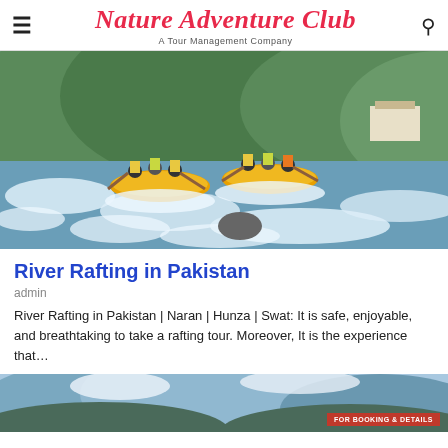Nature Adventure Club — A Tour Management Company
[Figure (photo): People river rafting in yellow inflatable boats on a fast-flowing river with white water rapids, surrounded by rocky banks and green hills in the background.]
River Rafting in Pakistan
admin
River Rafting in Pakistan | Naran | Hunza | Swat: It is safe, enjoyable, and breathtaking to take a rafting tour. Moreover, It is the experience that…
[Figure (photo): Partial view of a mountain landscape photo at the bottom of the page, with a red 'FOR BOOKING & DETAILS' badge overlay.]